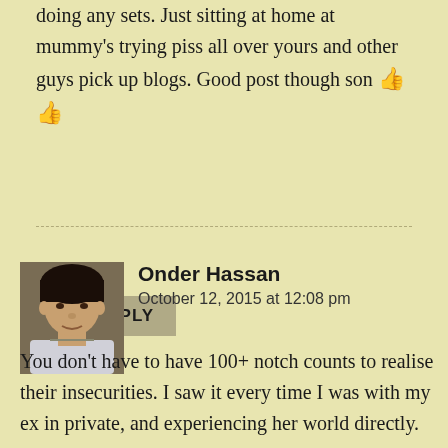doing any sets. Just sitting at home at mummy's trying piss all over yours and other guys pick up blogs. Good post though son 👍👍
REPLY
Onder Hassan
October 12, 2015 at 12:08 pm
You don't have to have 100+ notch counts to realise their insecurities. I saw it every time I was with my ex in private, and experiencing her world directly.
While I like reading up on the